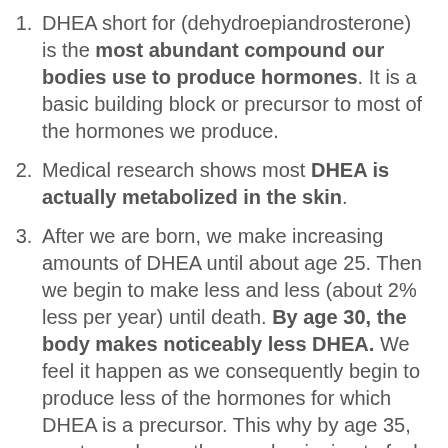DHEA short for (dehydroepiandrosterone) is the most abundant compound our bodies use to produce hormones. It is a basic building block or precursor to most of the hormones we produce.
Medical research shows most DHEA is actually metabolized in the skin.
After we are born, we make increasing amounts of DHEA until about age 25. Then we begin to make less and less (about 2% less per year) until death. By age 30, the body makes noticeably less DHEA. We feel it happen as we consequently begin to produce less of the hormones for which DHEA is a precursor. This why by age 35, most people say they are beginning to feel less energetic, less healthy, and tired. The aches and pains and weight gain begin when folks are less active. By age 45 to 55, women and men produce just half the DHEA